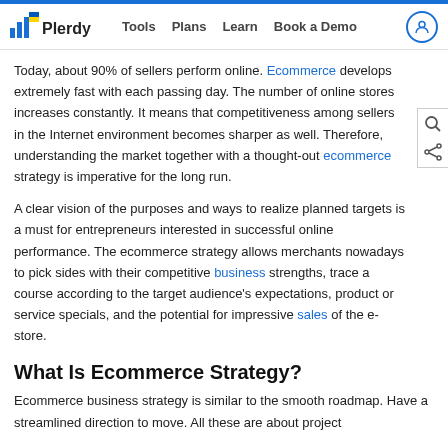Plerdy | Tools | Plans | Learn | Book a Demo
Today, about 90% of sellers perform online. Ecommerce develops extremely fast with each passing day. The number of online stores increases constantly. It means that competitiveness among sellers in the Internet environment becomes sharper as well. Therefore, understanding the market together with a thought-out ecommerce strategy is imperative for the long run.
A clear vision of the purposes and ways to realize planned targets is a must for entrepreneurs interested in successful online performance. The ecommerce strategy allows merchants nowadays to pick sides with their competitive business strengths, trace a course according to the target audience's expectations, product or service specials, and the potential for impressive sales of the e-store.
What Is Ecommerce Strategy?
Ecommerce business strategy is similar to the smooth roadmap. Have a streamlined direction to move. All these are about project...